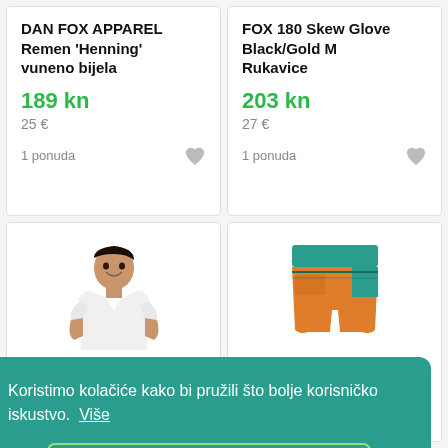DAN FOX APPAREL Remen 'Henning' vuneno bijela
FOX 180 Skew Glove Black/Gold M Rukavice
189 kn
25 €
203 kn
27 €
1 ponuda
1 ponuda
[Figure (photo): Person wearing white t-shirt]
[Figure (photo): Orange and teal shorts/pants product]
FO Tech Tee Optic White
na otvorenom Pala
Koristimo kolačiće kako bi pružili što bolje korisničko iskustvo.  Više
U redu